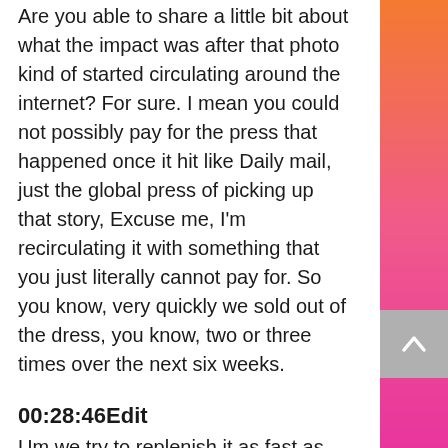Are you able to share a little bit about what the impact was after that photo kind of started circulating around the internet? For sure. I mean you could not possibly pay for the press that happened once it hit like Daily mail, just the global press of picking up that story, Excuse me, I'm recirculating it with something that you just literally cannot pay for. So you know, very quickly we sold out of the dress, you know, two or three times over the next six weeks.
00:28:46Edit
Um we try to replenish it as fast as possible. Um it's just incredible like what's something like that can do and then, you know, you do normalize, you know, you go back a little bit, it doesn't